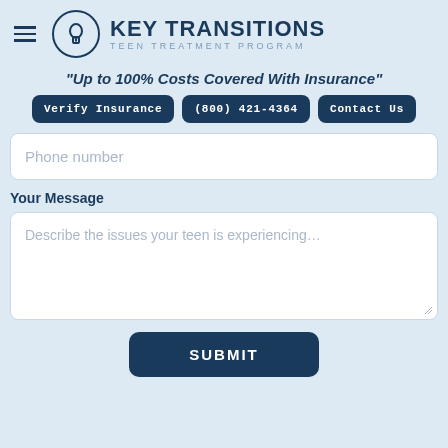KEY TRANSITIONS TEEN TREATMENT PROGRAM
“Up to 100% Costs Covered With Insurance”
Verify Insurance | (800) 421-4364 | Contact Us
Phone number
Your Message
Describe the issues your teen is experiencing...
SUBMIT